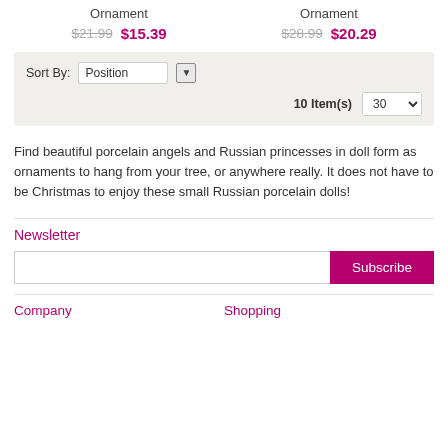Ornament $21.99 $15.39 | Ornament $28.99 $20.29
[Figure (screenshot): Sort By dropdown with Position selected, down arrow button, 10 Item(s) label and 30 items-per-page dropdown]
Find beautiful porcelain angels and Russian princesses in doll form as ornaments to hang from your tree, or anywhere really. It does not have to be Christmas to enjoy these small Russian porcelain dolls!
Newsletter
[Figure (screenshot): Newsletter email input field with Subscribe button]
Company
Shopping